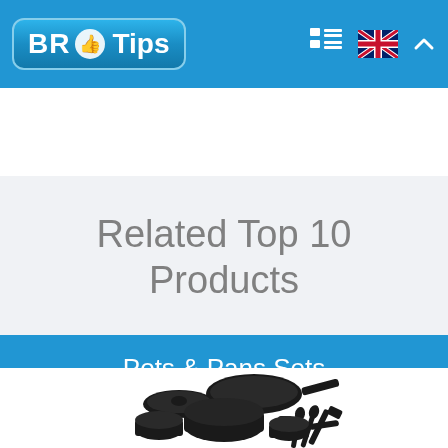BR Tips
Related Top 10 Products
Pots & Pans Sets
[Figure (photo): A set of black non-stick pots, pans, and kitchen utensils arranged together]